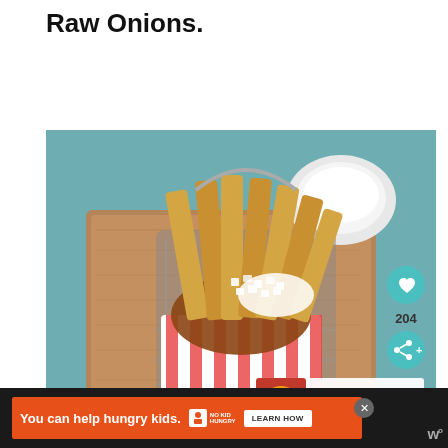Raw Onions.
[Figure (photo): A basket of loaded french fries with chili, raw onions, and white sauce served in a metal fryer basket lined with red and white striped paper, placed on a wooden cutting board. A bowl of white dipping sauce is visible in the background on a teal patterned cloth. Social sharing buttons (heart, count 204, share) are overlaid on the right side of the image. A 'What's Next: Asparagus Fried Rice' recommendation box appears in the bottom-right corner of the image.]
You can help hungry kids. NO KID HUNGRY LEARN HOW